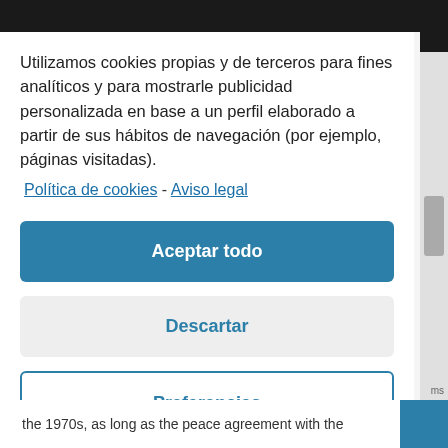Utilizamos cookies propias y de terceros para fines analíticos y para mostrarle publicidad personalizada en base a un perfil elaborado a partir de sus hábitos de navegación (por ejemplo, páginas visitadas).
Política de cookies -  Aviso legal
Aceptar todo
Descartar
Preferencias
the 1970s, as long as the peace agreement with the